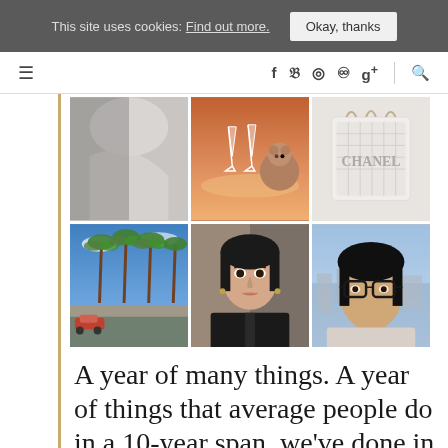This site uses cookies: Find out more. [Okay, thanks]
[Figure (photo): Website navigation bar with hamburger menu, social media icons (Facebook, Twitter, Instagram, Pinterest, Google+) and search icon]
[Figure (photo): A 2x3 photo grid collage: top row shows a wedding dress/veil, champagne glasses at sunset, Chanel bag; bottom row shows palm trees on a street, a woman's face portrait, a woman with glasses with city view]
A year of many things. A year of things that average people do in a 10-year span, we've done in less than 12 months.